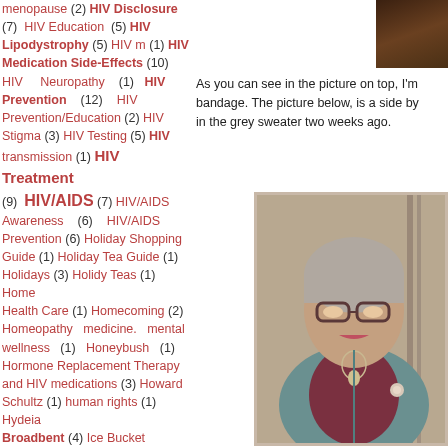menopause (2) HIV Disclosure (7) HIV Education (5) HIV Lipodystrophy (5) HIV m (1) HIV Medication Side-Effects (10) HIV Neuropathy (1) HIV Prevention (12) HIV Prevention/Education (2) HIV Stigma (3) HIV Testing (5) HIV transmission (1) HIV Treatment (9) HIV/AIDS (7) HIV/AIDS Awareness (6) HIV/AIDS Prevention (6) Holiday Shopping Guide (1) Holiday Tea Guide (1) Holidays (3) Holidy Teas (1) Home Health Care (1) Homecoming (2) Homeopathy medicine. mental wellness (1) Honeybush (1) Hormone Replacement Therapy and HIV medications (3) Howard Schultz (1) human rights (1) Hydeia Broadbent (4) Ice Bucket Challenge (1) Imani Collection (1) Immune Reconstitution (1) infidelity (1) Instagram (1) intent (2) intention (1)
[Figure (photo): Small photo of person at top right]
As you can see in the picture on top, I'm bandage. The picture below, is a side by in the grey sweater two weeks ago.
[Figure (photo): Portrait photo of a woman with glasses wearing a teal cardigan and maroon shirt with a necklace]